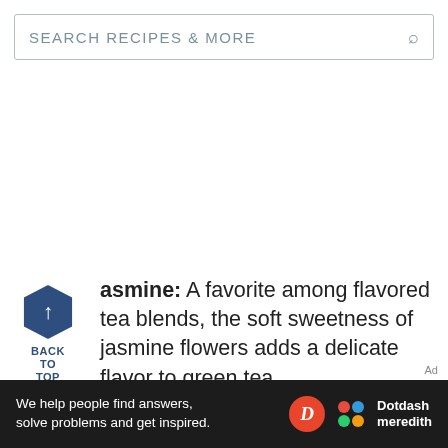SEARCH RECIPES & MORE
asmine: A favorite among flavored tea blends, the soft sweetness of jasmine flowers adds a delicate flavor to green tea.
Kukicha: A steamed tea made from
[Figure (other): Dotdash Meredith advertisement banner: 'We help people find answers, solve problems and get inspired.']